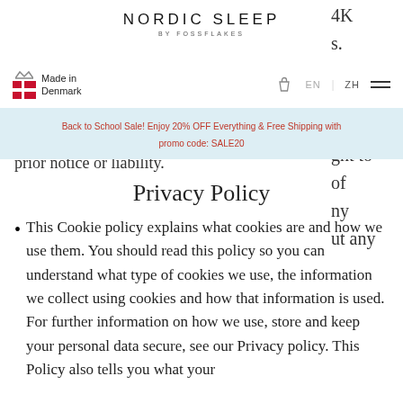NORDIC SLEEP BY FOSSFLAKES
[Figure (logo): Nordic Sleep by Fossflakes logo with Made in Denmark flag badge]
4K s. shall ght to of ny ut any prior notice or liability.
Back to School Sale! Enjoy 20% OFF Everything & Free Shipping with promo code: SALE20
Privacy Policy
This Cookie policy explains what cookies are and how we use them. You should read this policy so you can understand what type of cookies we use, the information we collect using cookies and how that information is used. For further information on how we use, store and keep your personal data secure, see our Privacy policy. This Policy also tells you what your